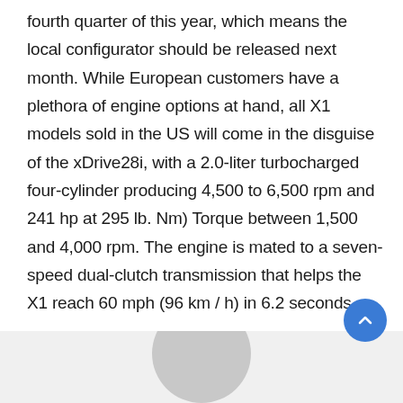fourth quarter of this year, which means the local configurator should be released next month. While European customers have a plethora of engine options at hand, all X1 models sold in the US will come in the disguise of the xDrive28i, with a 2.0-liter turbocharged four-cylinder producing 4,500 to 6,500 rpm and 241 hp at 295 lb. Nm) Torque between 1,500 and 4,000 rpm. The engine is mated to a seven-speed dual-clutch transmission that helps the X1 reach 60 mph (96 km / h) in 6.2 seconds.
[Figure (other): Partially visible circular image at the bottom center of the page, likely a car or vehicle photo. A blue circular scroll-to-top button is visible in the bottom right corner.]